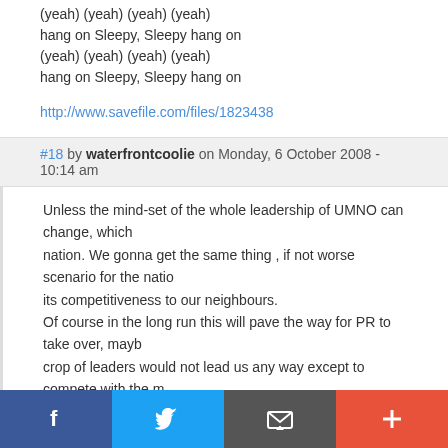(yeah) (yeah) (yeah) (yeah)
hang on Sleepy, Sleepy hang on
(yeah) (yeah) (yeah) (yeah)
hang on Sleepy, Sleepy hang on
http://www.savefile.com/files/1823438
#18 by waterfrontcoolie on Monday, 6 October 2008 - 10:14 am
Unless the mind-set of the whole leadership of UMNO can change, which nation. We gonna get the same thing , if not worse scenario for the natio its competitiveness to our neighbours.
Of course in the long run this will pave the way for PR to take over, mayb crop of leaders would not lead us any way except to compete with the m
#19 by wanderer on Monday, 6 October 2008 - 10:14 am
The wounded PM is still breathing, already, the vultures are circling abov Abdullah should give a last kick and not allow these hungry comrades to Afterall, his is still the PM, take a positive position and be respected by a